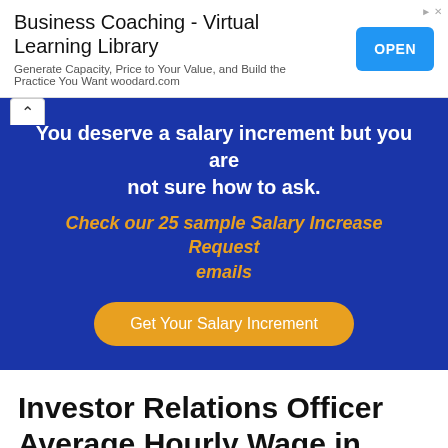[Figure (screenshot): Advertisement banner: 'Business Coaching - Virtual Learning Library' with OPEN button in blue]
[Figure (infographic): Promotional blue banner: 'You deserve a salary increment but you are not sure how to ask. Check our 25 sample Salary Increase Request emails' with 'Get Your Salary Increment' button]
Investor Relations Officer Average Hourly Wage in Guernsey
[Figure (infographic): Salary card beginning with a dollar sign icon in teal circle at top]